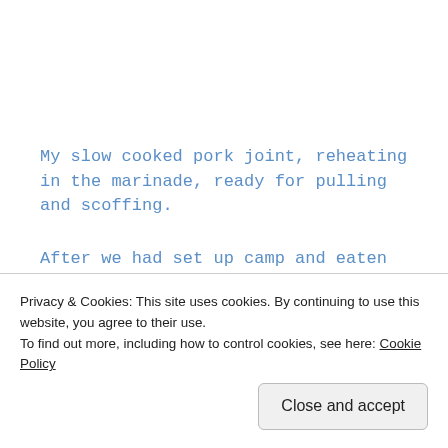My slow cooked pork joint, reheating in the marinade, ready for pulling and scoffing.
After we had set up camp and eaten our fill of pulled pork, salad and rolls, we set off at the onset of twilight to explore the lake shore. On booking we had requested tent spots near the lake
Privacy & Cookies: This site uses cookies. By continuing to use this website, you agree to their use.
To find out more, including how to control cookies, see here: Cookie Policy